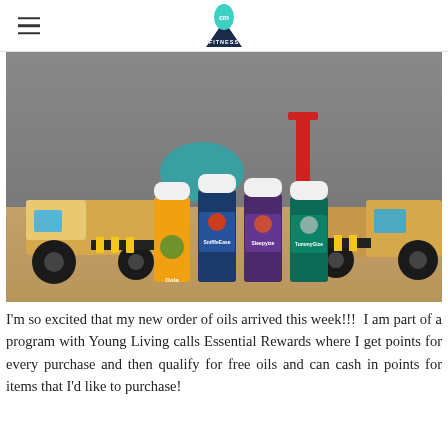CM Fitness (logo)
[Figure (photo): Four Young Living essential oil bottles (Oola, SniffleEase, Sleepyize, TummyGize) standing in front of wooden toy trucks on a tan surface with gray background.]
I'm so excited that my new order of oils arrived this week!!!  I am part of a program with Young Living calls Essential Rewards where I get points for every purchase and then qualify for free oils and can cash in points for items that I'd like to purchase!